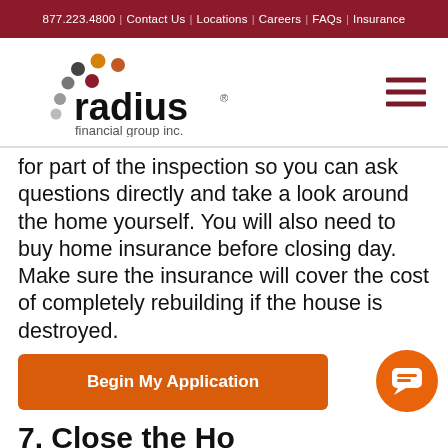877.223.4800 | Contact Us | Locations | Careers | FAQs | Insurance
[Figure (logo): Radius Financial Group Inc. logo with colored dots and company name]
for part of the inspection so you can ask questions directly and take a look around the home yourself. You will also need to buy home insurance before closing day. Make sure the insurance will cover the cost of completely rebuilding if the house is destroyed.
Begin My Application
7. Close the H...